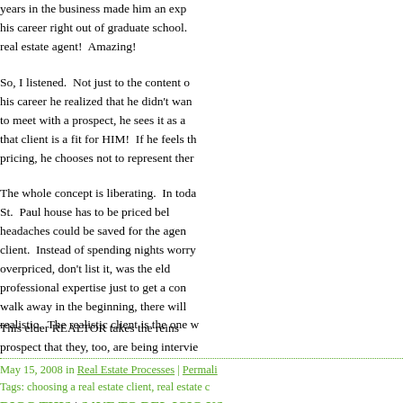years in the business made him an expert — his career right out of graduate school. real estate agent!  Amazing!
So, I listened.  Not just to the content of his career he realized that he didn't want to meet with a prospect, he sees it as a that client is a fit for HIM!  If he feels th pricing, he chooses not to represent ther
The whole concept is liberating.  In toda St. Paul house has to be priced bel headaches could be saved for the agen client.  Instead of spending nights worry overpriced, don't list it, was the eld professional expertise just to get a con walk away in the beginning, there will realistic.  The realistic client is the one w
This elder REALTOR takes the reins prospect that they, too, are being intervie
May 15, 2008 in Real Estate Processes | Permalink Tags: choosing a real estate client, real estate c DIGG THIS | SAVE TO DEL.ICIO.US